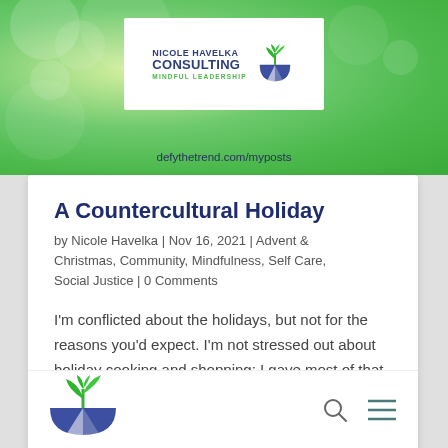[Figure (logo): Nicole Havelka Consulting Mindful Leadership logo with plant sprout icon in purple/blue bowl]
defythetrend.com/myposts
A Countercultural Holiday
by Nicole Havelka | Nov 16, 2021 | Advent & Christmas, Community, Mindfulness, Self Care, Social Justice | 0 Comments
I'm conflicted about the holidays, but not for the reasons you'd expect. I'm not stressed out about holiday cooking and shopping; I gave most of that up years ago. I'm not anxious about holiday travel; I'm not doing that anymore either, thanks to COVID. I'm not...
[Figure (logo): Nicole Havelka Consulting plant/bowl logo icon at bottom navigation bar]